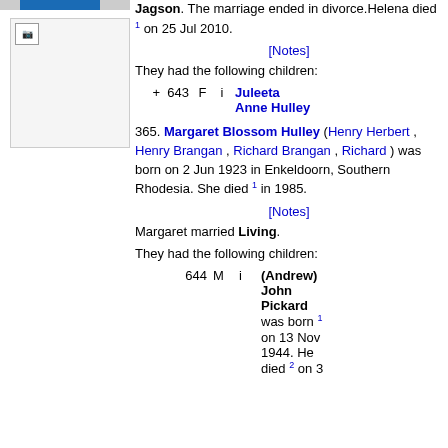[Figure (photo): Placeholder image box with broken image icon in top-left corner]
Jagson. The marriage ended in divorce.Helena died 1 on 25 Jul 2010.
[Notes]
They had the following children:
+ 643 F i Juleeta Anne Hulley
365. Margaret Blossom Hulley (Henry Herbert , Henry Brangan , Richard Brangan , Richard ) was born on 2 Jun 1923 in Enkeldoorn, Southern Rhodesia. She died 1 in 1985.
[Notes]
Margaret married Living.
They had the following children:
644 M i (Andrew) John Pickard was born 1 on 13 Nov 1944. He died 2 on 3